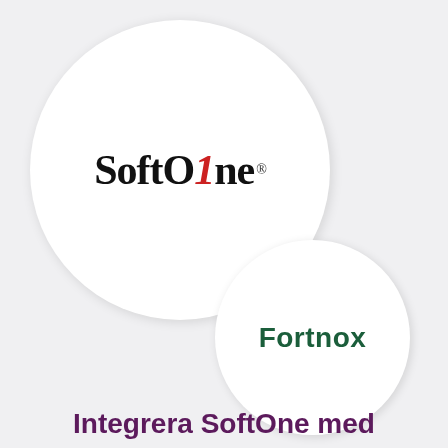[Figure (logo): SoftOne logo inside a large white circle. The logo reads 'SoftOne' in bold serif font with the '1' in red and the rest in black, followed by a registered trademark symbol.]
[Figure (logo): Fortnox logo inside a smaller white circle. The text 'Fortnox' in bold dark green sans-serif font.]
Integrera SoftOne med